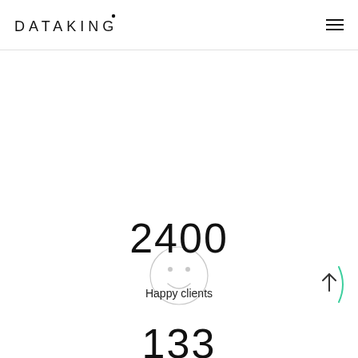DATAKING
[Figure (illustration): Smiley face circle icon, light gray outline]
2400
Happy clients
[Figure (illustration): Back to top button with upward chevron and curved arc]
133